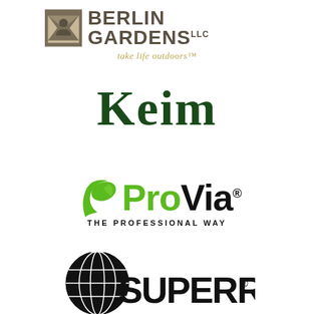[Figure (logo): Berlin Gardens LLC logo with geometric icon and tagline 'take life outdoors']
[Figure (logo): Keim logo in dark green serif font]
[Figure (logo): ProVia logo with green leaf swirl icon and tagline 'THE PROFESSIONAL WAY']
[Figure (logo): Superr logo with globe icon and bold text, partially visible at bottom]